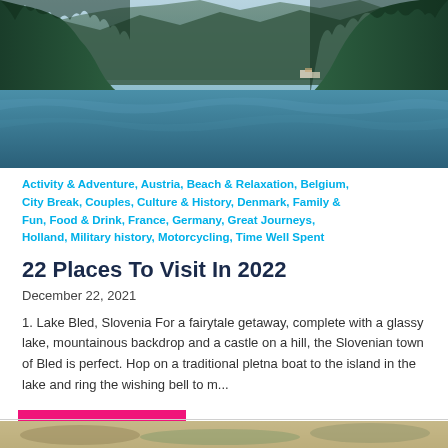[Figure (photo): A scenic mountain lake with forested hillsides on both sides, calm glassy water reflecting teal/blue tones, appears to be Lake Bled or similar Alpine/Slovenian lake]
Activity & Adventure, Austria, Beach & Relaxation, Belgium, City Break, Couples, Culture & History, Denmark, Family & Fun, Food & Drink, France, Germany, Great Journeys, Holland, Military history, Motorcycling, Time Well Spent
22 Places To Visit In 2022
December 22, 2021
1. Lake Bled, Slovenia For a fairytale getaway, complete with a glassy lake, mountainous backdrop and a castle on a hill, the Slovenian town of Bled is perfect. Hop on a traditional pletna boat to the island in the lake and ring the wishing bell to m...
READ MORE
[Figure (photo): Partial view of a second article's hero image at the bottom of the page, cropped off]